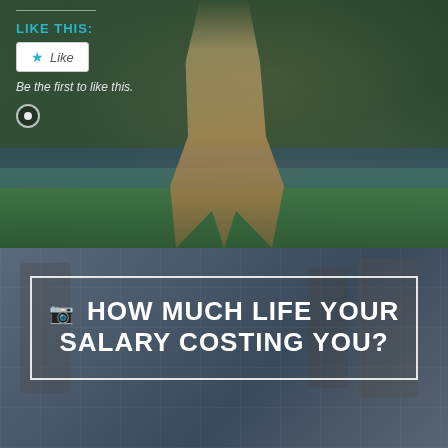[Figure (photo): Top half: person in white dress/skirt posing outdoors near greenery and water, legs visible, warm tones. Overlay UI shows 'LIKE THIS:' label, a Like button with star icon, italic text 'Be the first to like this.' and a radio/toggle icon.]
LIKE THIS:
Like
Be the first to like this.
[Figure (photo): Bottom half: dark-toned background showing blurred office/workspace environment with people, overlaid with a white-bordered box containing the title text.]
HOW MUCH LIFE YOUR SALARY COSTING YOU?